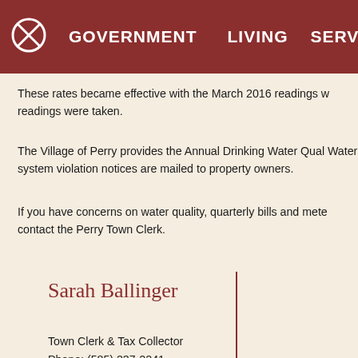GOVERNMENT  LIVING  SERV
These rates became effective with the March 2016 readings w readings were taken.
The Village of Perry provides the Annual Drinking Water Qual Water system violation notices are mailed to property owners.
If you have concerns on water quality, quarterly bills and mete contact the Perry Town Clerk.
Sarah Ballinger
Town Clerk & Tax Collector
Phone: (585) 237-2241
Ext: 11
Fax: (585) 237-3074